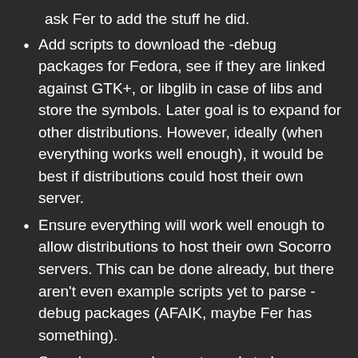ask Fer to add the stuff he did.
Add scripts to download the -debug packages for Fedora, see if they are linked against GTK+, or libglib in case of libs and store the symbols. Later goal is to expand for other distributions. However, ideally (when everything works well enough), it would be best if distributions could host their own server.
Ensure everything will work well enough to allow distributions to host their own Socorro servers. This can be done already, but there aren't even example scripts yet to parse -debug packages (AFAIK, maybe Fer has something).
Somehow a crash report needs to be forwarded to GNOME Bugzilla. Hopefully Fer has an idea (mainly about how to determine a new crasher and ensure it was not reported already to Bugzilla)
Screenshot: